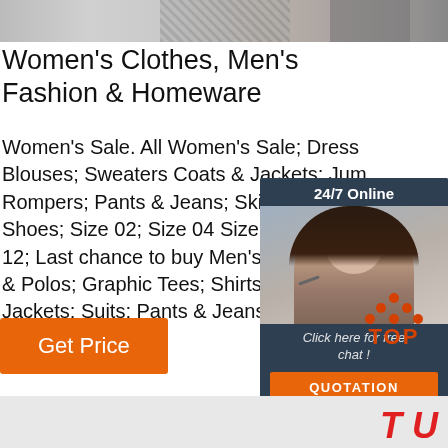[Figure (photo): Top banner image showing fashion/clothing items in grayscale]
Women's Clothes, Men's Fashion & Homeware
Women's Sale. All Women's Sale; Dresses; Blouses; Sweaters Coats & Jackets; Jumpsuits & Rompers; Pants & Jeans; Skirts & Shorts; Shoes; Size 02; Size 04 Size 06 Size 08; Size 12; Last chance to buy Men's Sale. All Men's Tees & Polos; Graphic Tees; Shirts; Sweaters; Coats & Jackets; Suits; Pants & Jeans; Shorts ...
[Figure (infographic): 24/7 Online chat widget with woman headset agent photo, 'Click here for free chat!' text and orange QUOTATION button]
[Figure (logo): TOP logo with orange dots arranged in triangle and red TOP text]
[Figure (screenshot): Orange Get Price button]
[Figure (logo): Bottom red italic logo letters T and U partially visible]